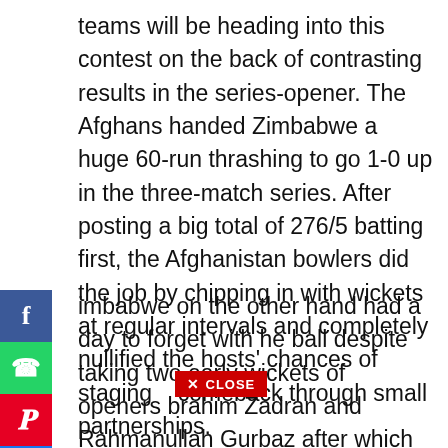teams will be heading into this contest on the back of contrasting results in the series-opener. The Afghans handed Zimbabwe a huge 60-run thrashing to go 1-0 up in the three-match series. After posting a big total of 276/5 batting first, the Afghanistan bowlers did the job by chipping in with wickets at regular intervals and completely nullified the hosts' chances of staging comeback through small partnerships.
[Figure (other): Social media share buttons: Facebook (blue), WhatsApp (green), Pinterest (red), More/share (blue)]
imbabwe on the other hand had a day to forget with he ball despite taking two early wickets of openers brahim Zadran and Rahmanullah Gurbaz after which he duo of Rahmat Shah and skipper Hashmatullah Shahidi staged a counter-attack with a match-winning 179-run third-wicket stand and the bowlers could never rediscover their rhythm from there on.  All-rounder Sikandar Raza was the lone half-centurion for
[Figure (other): Red close button with X CLOSE text]